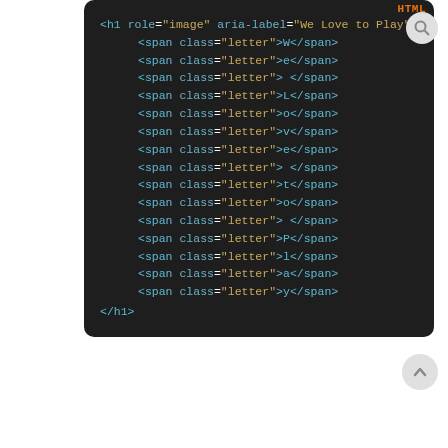[Figure (screenshot): Code editor screenshot showing HTML code with an h1 element using role='image' and aria-label='We Love to Play', containing multiple span elements with class='letter' for each character W, e, space, L, o, v, e, space, t, o, space, P, l, a, y, followed by closing h1 tag. Orange 'HTML' label and search icon visible in top right.]
White space below code block